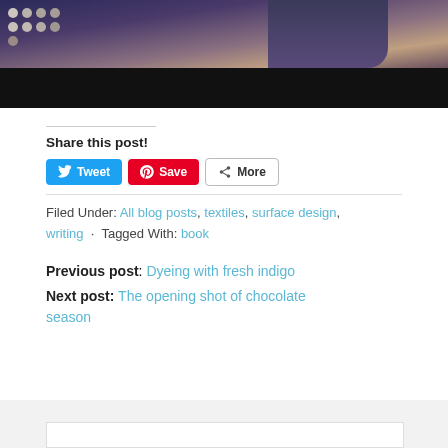[Figure (photo): Partial photo showing a dark round container with colorful discs/buttons on a wooden surface, with a person's arm/shirt visible, and a dark black bar at the bottom]
Share this post!
Tweet  Save  More
Filed Under: All blog posts, textiles, surface design, writing · Tagged With: book
Previous post: Dyeing with fresh indigo
Next post: The opening shot of chocolate season